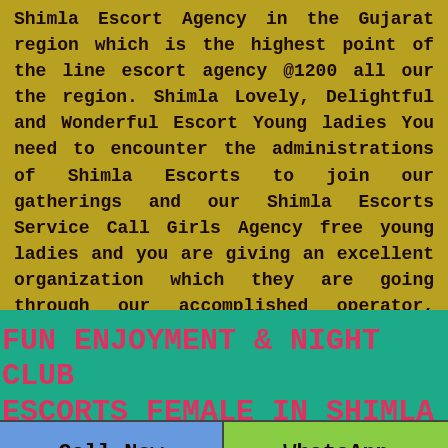Shimla Escort Agency in the Gujarat region which is the highest point of the line escort agency @1200 all our the region. Shimla Lovely, Delightful and Wonderful Escort Young ladies You need to encounter the administrations of Shimla Escorts to join our gatherings and our Shimla Escorts Service Call Girls Agency free young ladies and you are giving an excellent organization which they are going through our accomplished operator, accordingly They are equipped for taking care of each issue. We likewise trust this is a sureness. You are continually giving us a great thought or getting them anyplace. We have the best escort bring in Shimla young ladies.
FUN ENJOYMENT & NIGHT CLUB ESCORTS FEMALE IN SHIMLA
Call Now
WhatsApp